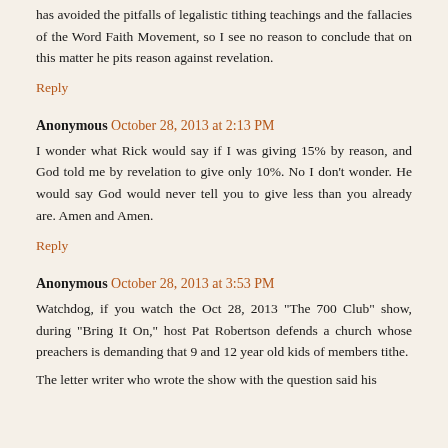has avoided the pitfalls of legalistic tithing teachings and the fallacies of the Word Faith Movement, so I see no reason to conclude that on this matter he pits reason against revelation.
Reply
Anonymous  October 28, 2013 at 2:13 PM
I wonder what Rick would say if I was giving 15% by reason, and God told me by revelation to give only 10%. No I don't wonder. He would say God would never tell you to give less than you already are. Amen and Amen.
Reply
Anonymous  October 28, 2013 at 3:53 PM
Watchdog, if you watch the Oct 28, 2013 "The 700 Club" show, during "Bring It On," host Pat Robertson defends a church whose preachers is demanding that 9 and 12 year old kids of members tithe.
The letter writer who wrote the show with the question said his